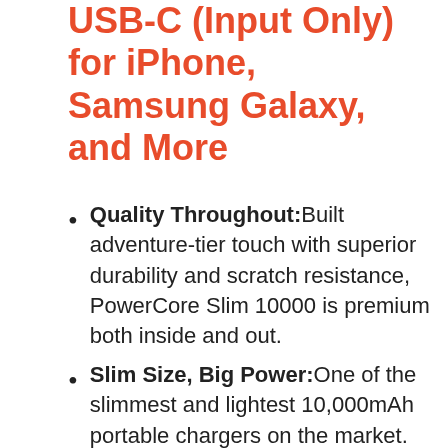USB-C (Input Only) for iPhone, Samsung Galaxy, and More
Quality Throughout:Built adventure-tier touch with superior durability and scratch resistance, PowerCore Slim 10000 is premium both inside and out.
Slim Size, Big Power:One of the slimmest and lightest 10,000mAh portable chargers on the market. Provides 2.25 charges for iPhone 12, 1.6 charges for Galaxy S20 and 1.2 charges for iPad mini 5.